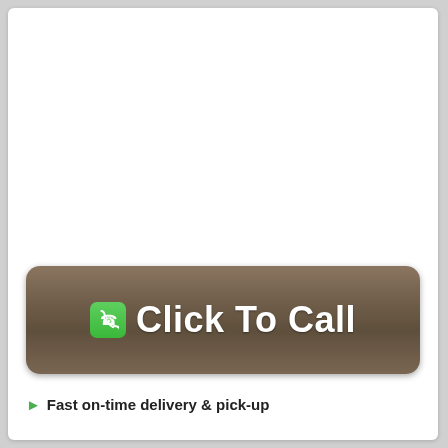[Figure (other): A large brown rounded-rectangle button with a green phone icon and bold white text reading 'Click To Call']
Fast on-time delivery & pick-up